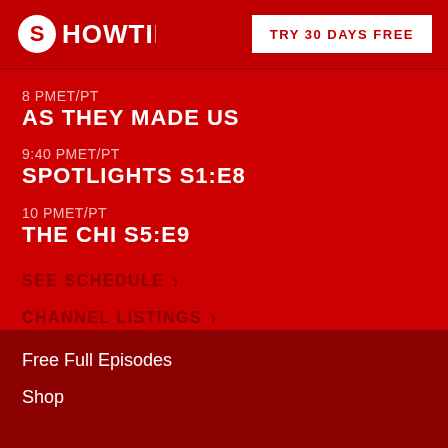[Figure (logo): Showtime logo in white on red background]
TRY 30 DAYS FREE
8 PMET/PT
AS THEY MADE US
9:40 PMET/PT
SPOTLIGHTS S1:E8
10 PMET/PT
THE CHI S5:E9
SEE SCHEDULE ›
CHANNEL LISTINGS ›
Free Full Episodes
Shop